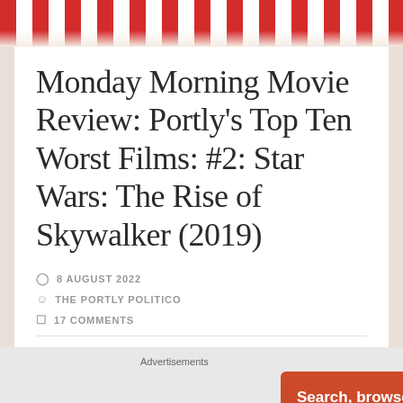[Figure (photo): Top portion of a decorative image with red and white striped pattern (popcorn bucket), partially visible at the top of the page]
Monday Morning Movie Review: Portly's Top Ten Worst Films: #2: Star Wars: The Rise of Skywalker (2019)
8 AUGUST 2022
THE PORTLY POLITICO
17 COMMENTS
[Figure (screenshot): DuckDuckGo advertisement banner with orange background. Text reads: Search, browse, and email with more privacy. All in One Free App. Shows a smartphone with DuckDuckGo logo.]